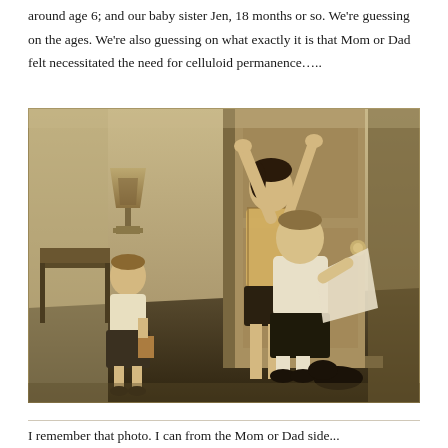around age 6; and our baby sister Jen, 18 months or so. We're guessing on the ages. We're also guessing on what exactly it is that Mom or Dad felt necessitated the need for celluloid permanence…..
[Figure (photo): Vintage sepia-toned black and white photograph of three children indoors. On the left, a toddler girl in a white blouse and dark skirt stands near a chair and a lamp. In the center-right, two older children (a boy and a girl) are reaching up toward a door or wall, appearing to play or reach for something high up. The setting appears to be a home interior from the 1950s.]
I remember that photo. I can from the Mom or Dad side...